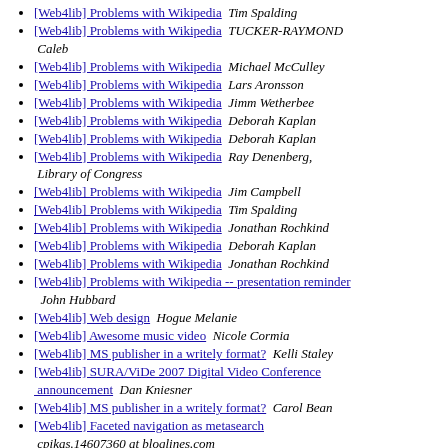[Web4lib] Problems with Wikipedia  Tim Spalding
[Web4lib] Problems with Wikipedia  TUCKER-RAYMOND Caleb
[Web4lib] Problems with Wikipedia  Michael McCulley
[Web4lib] Problems with Wikipedia  Lars Aronsson
[Web4lib] Problems with Wikipedia  Jimm Wetherbee
[Web4lib] Problems with Wikipedia  Deborah Kaplan
[Web4lib] Problems with Wikipedia  Deborah Kaplan
[Web4lib] Problems with Wikipedia  Ray Denenberg, Library of Congress
[Web4lib] Problems with Wikipedia  Jim Campbell
[Web4lib] Problems with Wikipedia  Tim Spalding
[Web4lib] Problems with Wikipedia  Jonathan Rochkind
[Web4lib] Problems with Wikipedia  Deborah Kaplan
[Web4lib] Problems with Wikipedia  Jonathan Rochkind
[Web4lib] Problems with Wikipedia -- presentation reminder  John Hubbard
[Web4lib] Web design  Hogue Melanie
[Web4lib] Awesome music video  Nicole Cormia
[Web4lib] MS publisher in a writely format?  Kelli Staley
[Web4lib] SURA/ViDe 2007 Digital Video Conference announcement  Dan Kniesner
[Web4lib] MS publisher in a writely format?  Carol Bean
[Web4lib] Faceted navigation as metasearch  cpikas.14607360 at bloglines.com